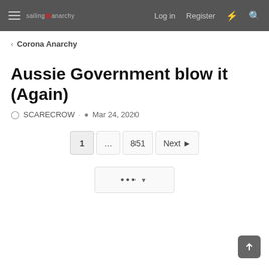sailing anarchy  Log in  Register
< Corona Anarchy
Aussie Government blow it (Again)
SCARECROW · Mar 24, 2020
1 ... 851 Next
... ▾